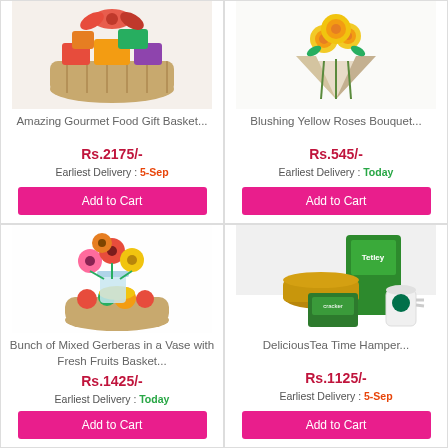[Figure (photo): Gift hamper basket with colorful items and a red bow]
Amazing Gourmet Food Gift Basket...
Rs.2175/-
Earliest Delivery : 5-Sep
Add to Cart
[Figure (photo): Yellow roses bouquet wrapped in paper]
Blushing Yellow Roses Bouquet...
Rs.545/-
Earliest Delivery : Today
Add to Cart
[Figure (photo): Mixed gerbera flowers in a vase with a fresh fruits basket]
Bunch of Mixed Gerberas in a Vase with Fresh Fruits Basket...
Rs.1425/-
Earliest Delivery : Today
[Figure (photo): Tea time hamper with tea boxes, crackers, and Starbucks mug]
DeliciousTea Time Hamper...
Rs.1125/-
Earliest Delivery : 5-Sep